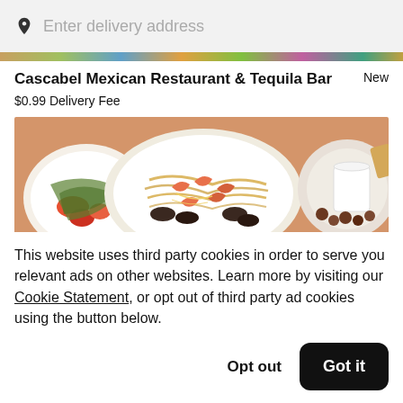Enter delivery address
Cascabel Mexican Restaurant & Tequila Bar   New
$0.99 Delivery Fee
[Figure (photo): Food photo strip showing colorful Mexican dishes including seafood pasta with shrimp and mussels, a plate with tomatoes and vegetables, and a side dish with a white cup]
This website uses third party cookies in order to serve you relevant ads on other websites. Learn more by visiting our Cookie Statement, or opt out of third party ad cookies using the button below.
Opt out
Got it